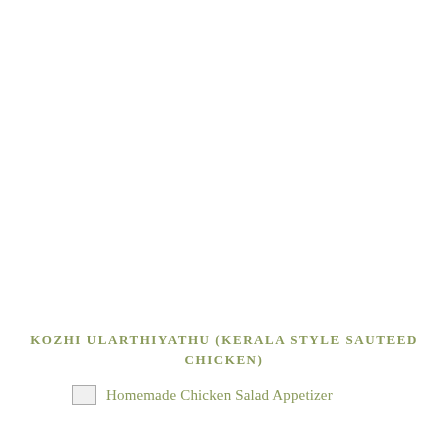KOZHI ULARTHIYATHU (KERALA STYLE SAUTEED CHICKEN)
Homemade Chicken Salad Appetizer